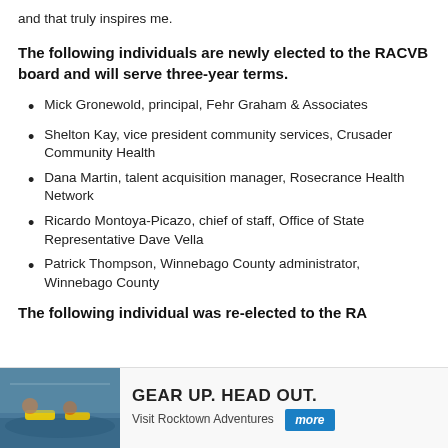and that truly inspires me.
The following individuals are newly elected to the RACVB board and will serve three-year terms.
Mick Gronewold, principal, Fehr Graham & Associates
Shelton Kay, vice president community services, Crusader Community Health
Dana Martin, talent acquisition manager, Rosecrance Health Network
Ricardo Montoya-Picazo, chief of staff, Office of State Representative Dave Vella
Patrick Thompson, Winnebago County administrator, Winnebago County
The following individual was re-elected to the RA
[Figure (infographic): Advertisement banner: kayaking photo on left, 'GEAR UP. HEAD OUT. Visit Rocktown Adventures more' on right]